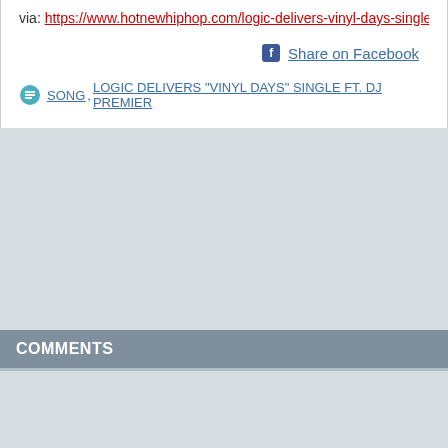via: https://www.hotnewhiphop.com/logic-delivers-vinyl-days-single-ft-dj-pr
Share on Facebook
SONG, LOGIC DELIVERS "VINYL DAYS" SINGLE FT. DJ PREMIER
COMMENTS